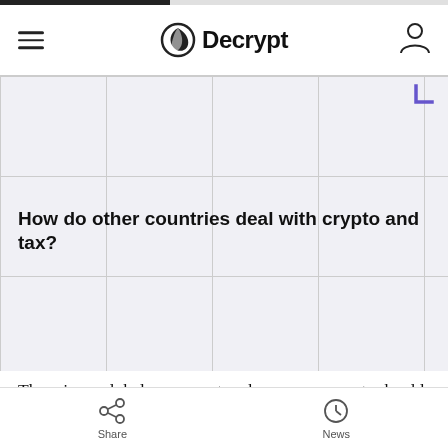Decrypt
How do other countries deal with crypto and tax?
There is no global agreement on how governments should tackle cryptocurrencies, but there are several countries that simply don't tax crypto gains.
One such example is Belarus, which, in March 2018, introduced legislation that legalized cryptocurrency
Share  News